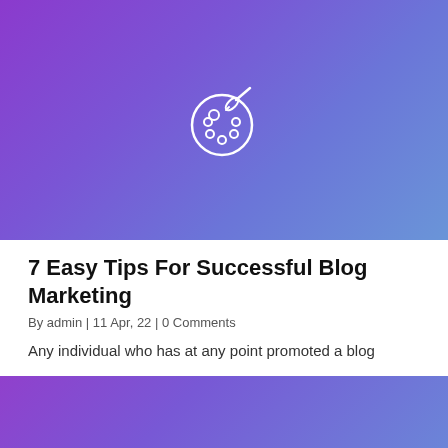[Figure (illustration): Purple to blue gradient hero banner with a white paint palette and brush icon centered in the image]
7 Easy Tips For Successful Blog Marketing
By admin | 11 Apr, 22 | 0 Comments
Any individual who has at any point promoted a blog
[Figure (illustration): Second purple to blue gradient hero banner, partially visible at bottom of page]